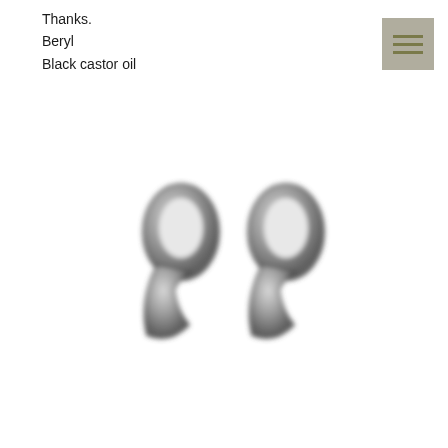Thanks.
Beryl
Black castor oil
[Figure (illustration): A large decorative closing double quotation mark symbol rendered in a 3D metallic/embossed grey style on a white background.]
[Figure (other): Menu/hamburger icon: a grey square with three horizontal dark olive/gold lines.]